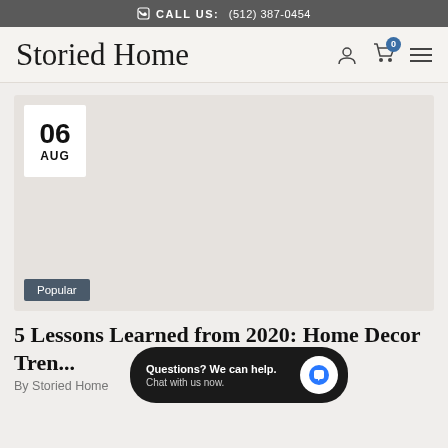CALL US: (512) 387-0454
[Figure (logo): Storied Home cursive logo with navigation icons (user, cart with 0, hamburger menu)]
[Figure (photo): Blog post featured image area (light gray/beige), with a white date badge showing 06 AUG in the top-left corner and a dark gray 'Popular' label badge at the bottom-left.]
5 Lessons Learned from 2020: Home Decor Tren...
By Storied Home
[Figure (screenshot): Chat popup overlay: dark rounded rectangle with text 'Questions? We can help. Chat with us now.' and a white circle button with blue speech bubble icon.]